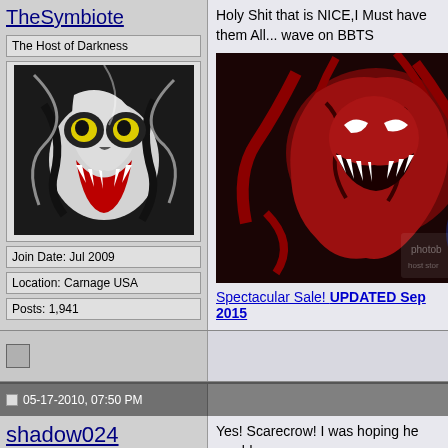TheSymbiote
The Host of Darkness
[Figure (photo): Avatar image of a black and white creature with yellow eyes and red mouth]
Join Date: Jul 2009
Location: Carnage USA
Posts: 1,941
Holy Shit that is NICE,I Must have them All... wave on BBTS
[Figure (photo): Carnage comic book artwork showing red symbiote character with photobucket watermark]
Spectacular Sale! UPDATED Sep 2015
05-17-2010, 07:50 PM
shadow024
Join Date: Apr 2010
Posts: 193
Yes! Scarecrow! I was hoping he would ge